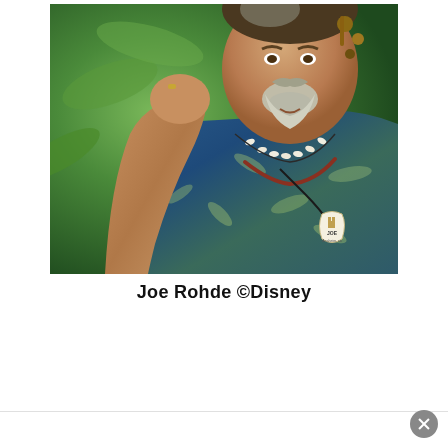[Figure (photo): Photograph of Joe Rohde, a man with a gray goatee wearing a blue tropical/Hawaiian shirt with a leaf pattern, a white shell necklace, various accessories in his hair, a name badge reading 'JOE', and a ring on his hand which is raised near his face. Set against an outdoor green background.]
Joe Rohde ©Disney